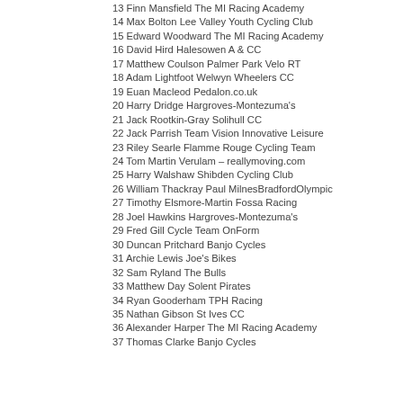13 Finn Mansfield The MI Racing Academy
14 Max Bolton Lee Valley Youth Cycling Club
15 Edward Woodward The MI Racing Academy
16 David Hird Halesowen A & CC
17 Matthew Coulson Palmer Park Velo RT
18 Adam Lightfoot Welwyn Wheelers CC
19 Euan Macleod Pedalon.co.uk
20 Harry Dridge Hargroves-Montezuma's
21 Jack Rootkin-Gray Solihull CC
22 Jack Parrish Team Vision Innovative Leisure
23 Riley Searle Flamme Rouge Cycling Team
24 Tom Martin Verulam – reallymoving.com
25 Harry Walshaw Shibden Cycling Club
26 William Thackray Paul MilnesBradfordOlympic
27 Timothy Elsmore-Martin Fossa Racing
28 Joel Hawkins Hargroves-Montezuma's
29 Fred Gill Cycle Team OnForm
30 Duncan Pritchard Banjo Cycles
31 Archie Lewis Joe's Bikes
32 Sam Ryland The Bulls
33 Matthew Day Solent Pirates
34 Ryan Gooderham TPH Racing
35 Nathan Gibson St Ives CC
36 Alexander Harper The MI Racing Academy
37 Thomas Clarke Banjo Cycles